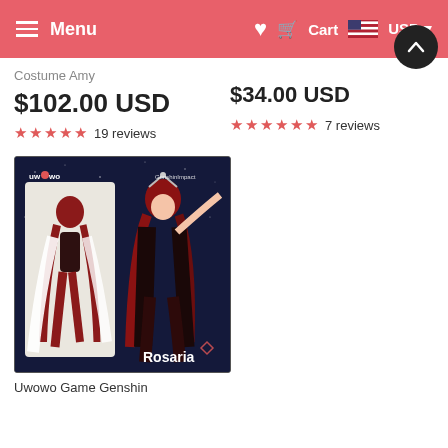Menu | Cart | USD
Costume Amy
$102.00 USD
★★★★★ 19 reviews
$34.00 USD
★★★★★ 7 reviews
[Figure (photo): Uwowo Game Genshin Impact cosplay character Rosaria costume product image showing character art and costume reference. Character with red hair in dark fantasy outfit with 'Rosaria' text label and uwowo branding.]
Uwowo Game Genshin